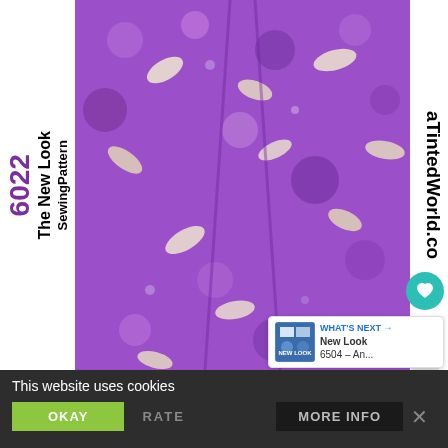[Figure (photo): Screenshot of a blog or website page showing a purple floral/bird print dress or top fabric, with overlaid text reading 'The New Look 6022 SewingPattern' rotated vertically on the left side, partial website URL on the right edge, social media icons (heart, share), a 'WHAT'S NEXT' card showing 'New Look 6504 – An...' with thumbnail, and a cookie consent bar at the bottom with 'This website uses cookies', OKAY button, and MORE INFO button.]